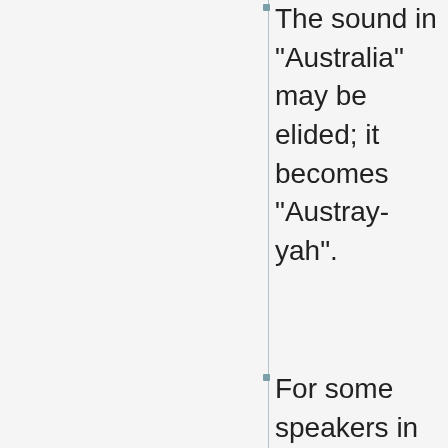The sound in "Australia" may be elided; it becomes "Austray-yah".
For some speakers in the